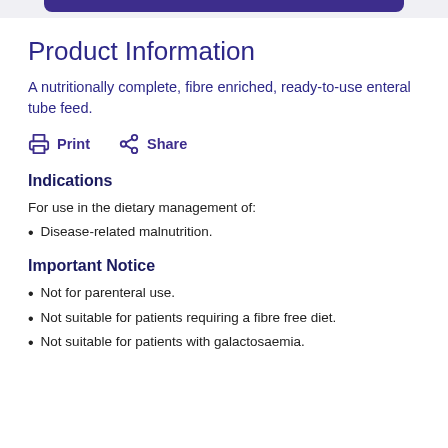Product Information
A nutritionally complete, fibre enriched, ready-to-use enteral tube feed.
Indications
For use in the dietary management of:
Disease-related malnutrition.
Important Notice
Not for parenteral use.
Not suitable for patients requiring a fibre free diet.
Not suitable for patients with galactosaemia.